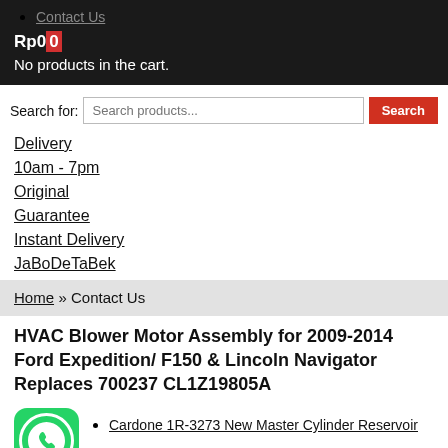Contact Us
Rp00
No products in the cart.
Search for: [Search products...] [Search]
Delivery 10am - 7pm
Original Guarantee
Instant Delivery JaBoDeTaBek
Home » Contact Us
HVAC Blower Motor Assembly for 2009-2014 Ford Expedition/ F150 & Lincoln Navigator Replaces 700237 CL1Z19805A
Cardone 1R-3273 New Master Cylinder Reservoir